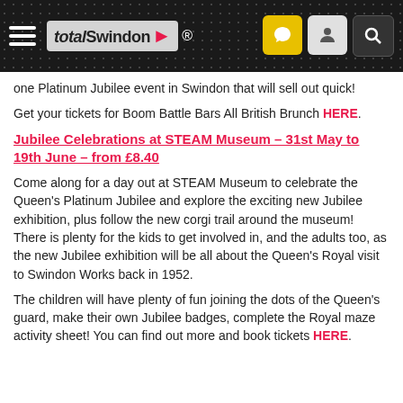total Swindon ®
one Platinum Jubilee event in Swindon that will sell out quick!
Get your tickets for Boom Battle Bars All British Brunch HERE.
Jubilee Celebrations at STEAM Museum - 31st May to 19th June - from £8.40
Come along for a day out at STEAM Museum to celebrate the Queen's Platinum Jubilee and explore the exciting new Jubilee exhibition, plus follow the new corgi trail around the museum! There is plenty for the kids to get involved in, and the adults too, as the new Jubilee exhibition will be all about the Queen's Royal visit to Swindon Works back in 1952.
The children will have plenty of fun joining the dots of the Queen's guard, make their own Jubilee badges, complete the Royal maze activity sheet! You can find out more and book tickets HERE.